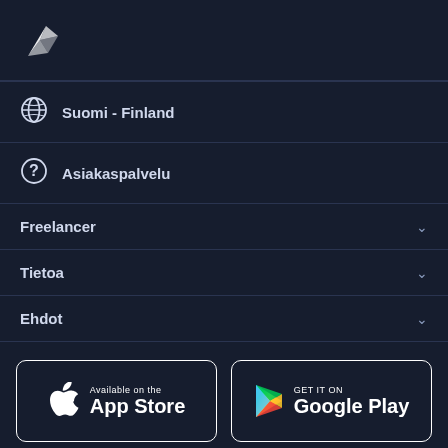[Figure (logo): White hummingbird/origami bird logo on dark navy background]
Suomi - Finland
Asiakaspalvelu
Freelancer
Tietoa
Ehdot
[Figure (logo): App Store badge — Available on the App Store]
[Figure (logo): Google Play badge — GET IT ON Google Play]